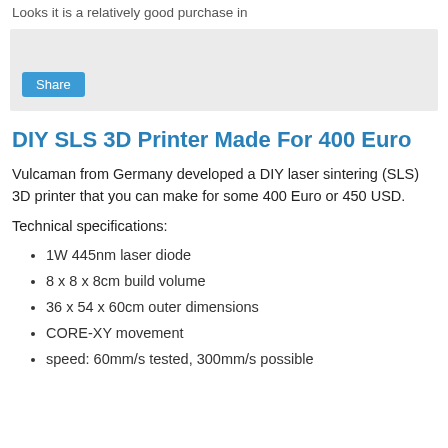Looks it is a relatively good purchase in
[Figure (screenshot): Gray share box with a blue Share button]
DIY SLS 3D Printer Made For 400 Euro
Vulcaman from Germany developed a DIY laser sintering (SLS) 3D printer that you can make for some 400 Euro or 450 USD.
Technical specifications:
1W 445nm laser diode
8 x 8 x 8cm build volume
36 x 54 x 60cm outer dimensions
CORE-XY movement
speed: 60mm/s tested, 300mm/s possible